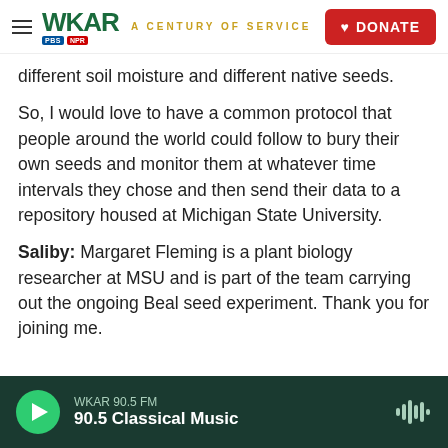WKAR A CENTURY OF SERVICE | DONATE
different soil moisture and different native seeds.
So, I would love to have a common protocol that people around the world could follow to bury their own seeds and monitor them at whatever time intervals they chose and then send their data to a repository housed at Michigan State University.
Saliby: Margaret Fleming is a plant biology researcher at MSU and is part of the team carrying out the ongoing Beal seed experiment. Thank you for joining me.
WKAR 90.5 FM | 90.5 Classical Music